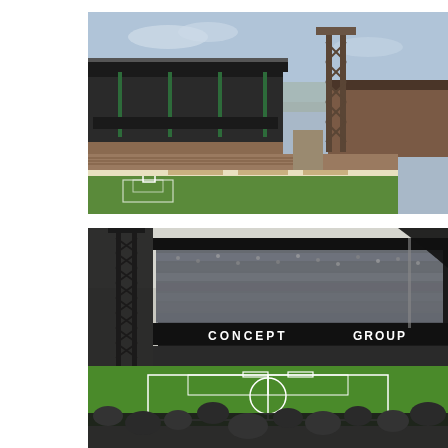[Figure (photo): Exterior/interior view of a football stadium showing stands, a large lattice steel pylon/floodlight tower, covered terracing with dark roof, advertising boards around the pitch perimeter, and a green pitch. Appears to be a British football ground from the 1980s-90s.]
[Figure (photo): Interior view of a packed football stadium from a terrace/stand perspective. Large curved grandstand visible with 'CONCEPT GROUP' sponsorship text on the fascia. Tall lattice floodlight pylon on the left. Green pitch with match in progress, large crowd filling the stands.]